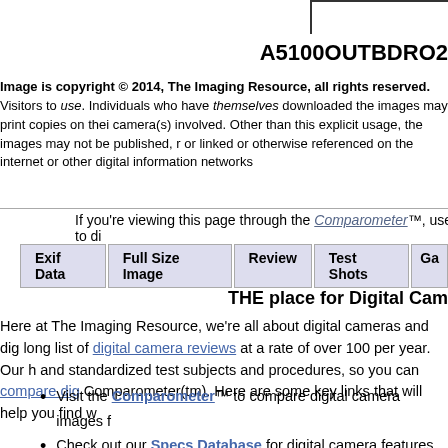A5100OUTBDRO2
Image is copyright © 2014, The Imaging Resource, all rights reserved. Visitors to use. Individuals who have themselves downloaded the images may print copies on their camera(s) involved. Other than this explicit usage, the images may not be published, or linked or otherwise referenced on the internet or other digital information networks
If you're viewing this page through the Comparometer™, use its controls to di
Exif Data | Full Size Image | Review | Test Shots | Ga
THE place for Digital Cam
Here at The Imaging Resource, we're all about digital cameras and dig long list of digital camera reviews at a rate of over 100 per year. Our h and standardized test subjects and procedures, so you can compare dig Comparometer(tm). Here are some key links that will help you find w
Visit the Comparometer™ to compare digital camera images f
Check out our Specs Database for digital camera features
See Dave's Picks for lists of the best digital cameras, in a variet